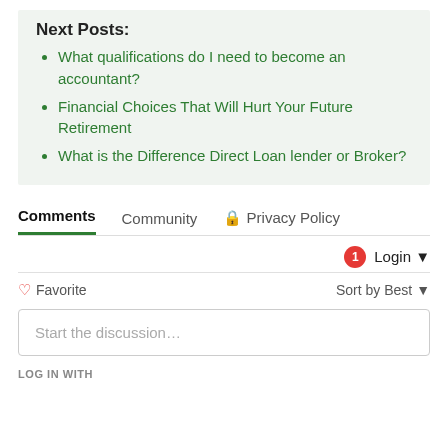Next Posts:
What qualifications do I need to become an accountant?
Financial Choices That Will Hurt Your Future Retirement
What is the Difference Direct Loan lender or Broker?
Comments   Community   Privacy Policy
1  Login
Favorite   Sort by Best
Start the discussion…
LOG IN WITH